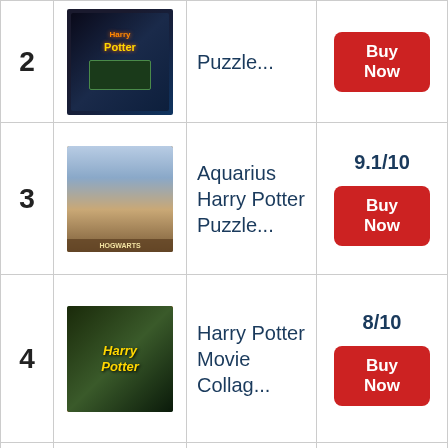2 - Puzzle... - Buy Now
3 - Aquarius Harry Potter Puzzle... - 9.1/10 - Buy Now
4 - Harry Potter Movie Collag... - 8/10 - Buy Now
5 - The Noble Collection... - 8.7/10 - Buy Now